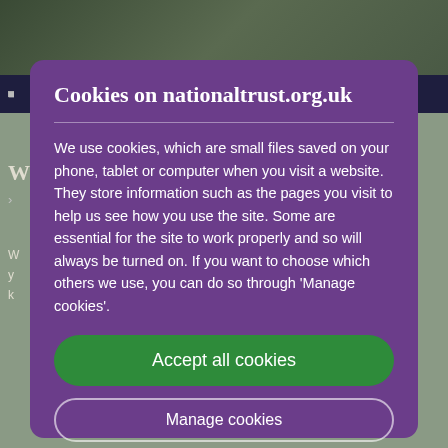[Figure (screenshot): Website background showing a National Trust webpage with navigation and content partially visible behind a cookie consent modal dialog.]
Cookies on nationaltrust.org.uk
We use cookies, which are small files saved on your phone, tablet or computer when you visit a website. They store information such as the pages you visit to help us see how you use the site. Some are essential for the site to work properly and so will always be turned on. If you want to choose which others we use, you can do so through 'Manage cookies'.
Accept all cookies
Manage cookies